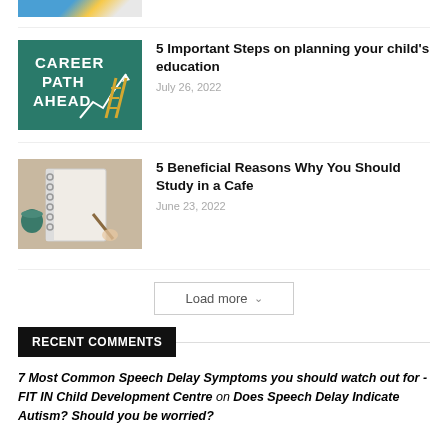[Figure (photo): Partial top image cropped at top of page]
[Figure (photo): Chalkboard with 'Career Path Ahead' text and upward arrow chart with ladder]
5 Important Steps on planning your child's education
July 26, 2022
[Figure (photo): Person writing in a notebook at a cafe with a coffee cup]
5 Beneficial Reasons Why You Should Study in a Cafe
June 23, 2022
Load more
RECENT COMMENTS
7 Most Common Speech Delay Symptoms you should watch out for - FIT IN Child Development Centre on Does Speech Delay Indicate Autism? Should you be worried?